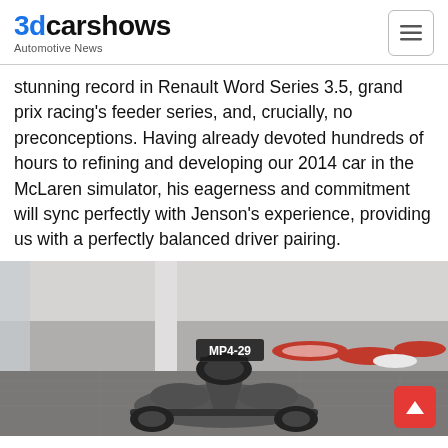3dcarshows Automotive News
stunning record in Renault Word Series 3.5, grand prix racing's feeder series, and, crucially, no preconceptions. Having already devoted hundreds of hours to refining and developing our 2014 car in the McLaren simulator, his eagerness and commitment will sync perfectly with Jenson's experience, providing us with a perfectly balanced driver pairing.
[Figure (photo): McLaren MP4-29 Formula 1 car on display inside the McLaren Technology Centre, with historic race cars visible in the background.]